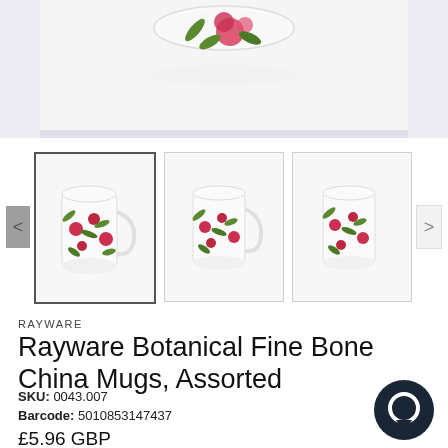[Figure (photo): Top portion of a floral bone china mug with pink flowers and green leaves on white background, partially cropped]
[Figure (photo): Three thumbnail images of Rayware Botanical Fine Bone China mugs with red/pink floral pattern and green leaves on white ceramic. First thumbnail is selected with border.]
RAYWARE
Rayware Botanical Fine Bone China Mugs, Assorted
SKU: 0043.007
Barcode: 5010853147437
£5.96 GBP
[Figure (illustration): Dark circular chat/messaging button icon]